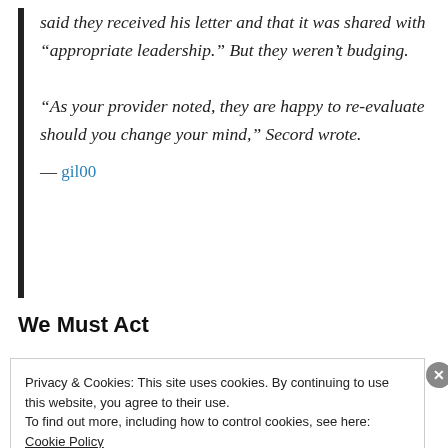said they received his letter and that it was shared with “appropriate leadership.” But they weren’t budging.

“As your provider noted, they are happy to re-evaluate should you change your mind,” Secord wrote.

— gil00
We Must Act
Privacy & Cookies: This site uses cookies. By continuing to use this website, you agree to their use.
To find out more, including how to control cookies, see here: Cookie Policy
Close and accept